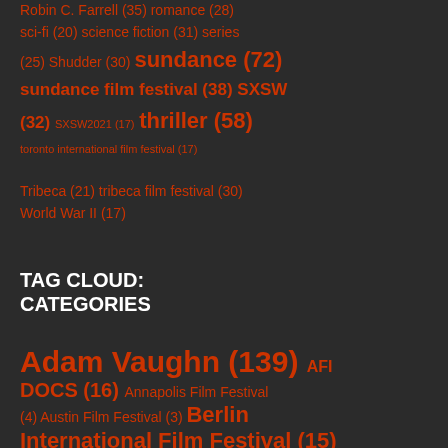Robin C. Farrell (35) romance (28) sci-fi (20) science fiction (31) series (25) Shudder (30) sundance (72) sundance film festival (38) SXSW (32) SXSW2021 (17) thriller (58) toronto international film festival (17) Tribeca (21) tribeca film festival (30) World War II (17)
TAG CLOUD: CATEGORIES
Adam Vaughn (139) AFI DOCS (16) Annapolis Film Festival (4) Austin Film Festival (3) Berlin International Film Festival (15) Breaking (1220)